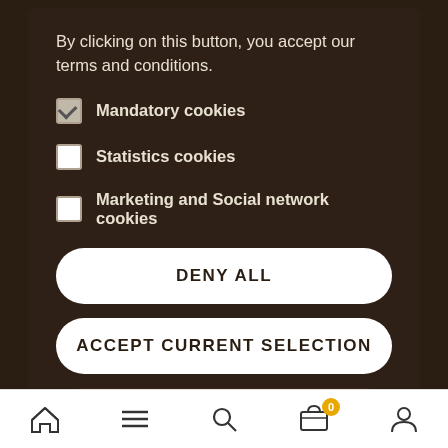By clicking on this button, you accept our terms and conditions.
Mandatory cookies
Statistics cookies
Marketing and Social network cookies
DENY ALL
ACCEPT CURRENT SELECTION
ACCEPT ALL
Home | Menu | Search | Cart (0) | Account